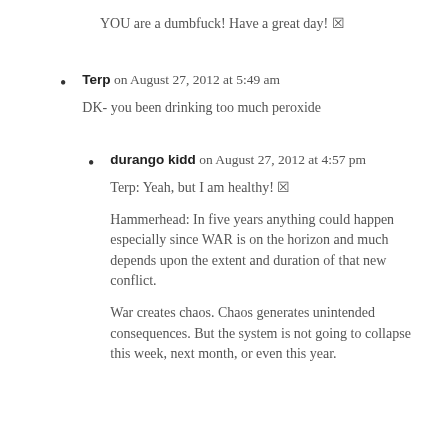YOU are a dumbfuck! Have a great day! 🙂
Terp on August 27, 2012 at 5:49 am
DK- you been drinking too much peroxide
durango kidd on August 27, 2012 at 4:57 pm
Terp: Yeah, but I am healthy! 🙂
Hammerhead: In five years anything could happen especially since WAR is on the horizon and much depends upon the extent and duration of that new conflict.
War creates chaos. Chaos generates unintended consequences. But the system is not going to collapse this week, next month, or even this year.